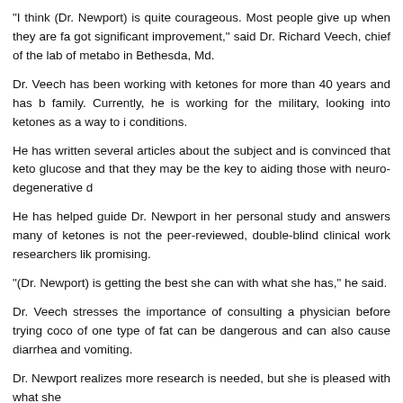“I think (Dr. Newport) is quite courageous. Most people give up when they are fa got significant improvement,” said Dr. Richard Veech, chief of the lab of metabo in Bethesda, Md.
Dr. Veech has been working with ketones for more than 40 years and has b family. Currently, he is working for the military, looking into ketones as a way to i conditions.
He has written several articles about the subject and is convinced that keto glucose and that they may be the key to aiding those with neuro-degenerative d
He has helped guide Dr. Newport in her personal study and answers many of ketones is not the peer-reviewed, double-blind clinical work researchers lik promising.
“(Dr. Newport) is getting the best she can with what she has,” he said.
Dr. Veech stresses the importance of consulting a physician before trying coco of one type of fat can be dangerous and can also cause diarrhea and vomiting.
Dr. Newport realizes more research is needed, but she is pleased with what she
“I’ve got living proof that this will help people,” she said. “I want to just tell ever too.
“All I’m asking is to investigate this further. After living through Alzheimer’s, anyt